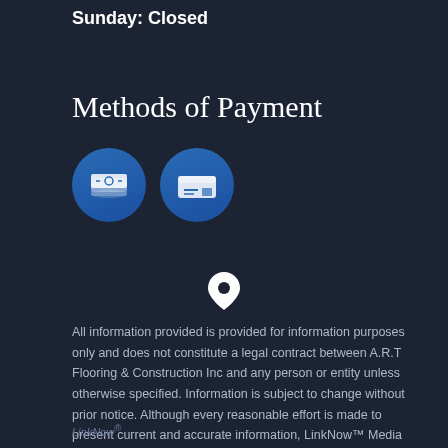Sunday: Closed
Methods of Payment
[Figure (illustration): Two blue circular icons: a cash/money stack icon and a cheque/credit card icon representing payment methods]
[Figure (illustration): White location pin / map marker icon]
All information provided is provided for information purposes only and does not constitute a legal contract between A.R.T Flooring & Construction Inc and any person or entity unless otherwise specified. Information is subject to change without prior notice. Although every reasonable effort is made to present current and accurate information, LinkNow™ Media makes no guarantees of any kind.
LinkNow®